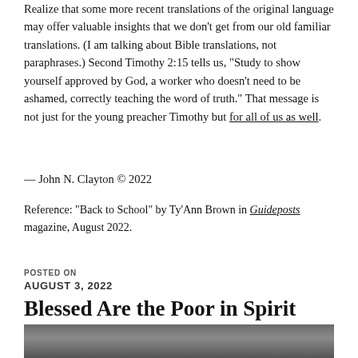Realize that some more recent translations of the original language may offer valuable insights that we don't get from our old familiar translations. (I am talking about Bible translations, not paraphrases.) Second Timothy 2:15 tells us, “Study to show yourself approved by God, a worker who doesn’t need to be ashamed, correctly teaching the word of truth.” That message is not just for the young preacher Timothy but for all of us as well.
— John N. Clayton © 2022
Reference: “Back to School” by Ty’Ann Brown in Guideposts magazine, August 2022.
AUGUST 3, 2022
Blessed Are the Poor in Spirit
[Figure (photo): Bottom strip of a photograph, partially visible at the bottom of the page, dark tones suggesting wood or a dark surface.]